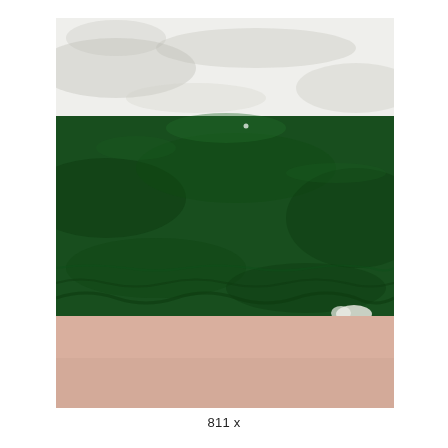[Figure (photo): Close-up photograph showing three horizontal bands: a white/light grey textured surface at top, a dark green textured material (possibly fabric or turf) in the middle, and a pale peach/skin-toned smooth surface at the bottom. A small white object is visible near the right side where the green and peach sections meet.]
811 x